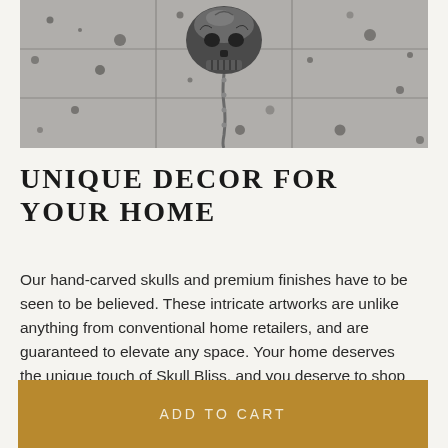[Figure (photo): Top-down view of a decorative metallic skull placed on grey terrazzo/stone tile flooring with a grid pattern.]
UNIQUE DECOR FOR YOUR HOME
Our hand-carved skulls and premium finishes have to be seen to be believed. These intricate artworks are unlike anything from conventional home retailers, and are guaranteed to elevate any space. Your home deserves the unique touch of Skull Bliss, and you deserve to shop at
ADD TO CART